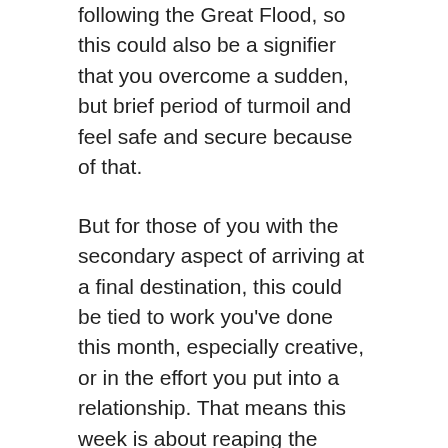following the Great Flood, so this could also be a signifier that you overcome a sudden, but brief period of turmoil and feel safe and secure because of that.
But for those of you with the secondary aspect of arriving at a final destination, this could be tied to work you've done this month, especially creative, or in the effort you put into a relationship. That means this week is about reaping the rewards for your effort in happiness and closing a chapter on your life with joy.
Week 5: March 28th to the 31st
The final card in your spread is the Ace of Swords. I find this a more sharp card than your